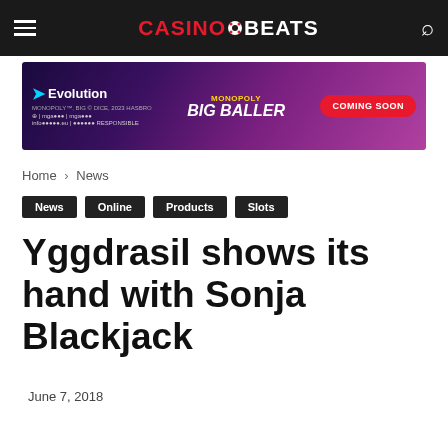CASINOBEATS
[Figure (screenshot): Evolution / Monopoly Big Baller Coming Soon advertisement banner]
Home › News
News
Online
Products
Slots
Yggdrasil shows its hand with Sonja Blackjack
June 7, 2018